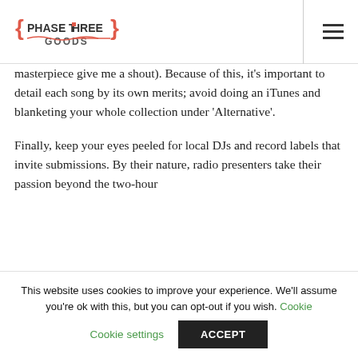Phase Three Goods
masterpiece give me a shout). Because of this, it's important to detail each song by its own merits; avoid doing an iTunes and blanketing your whole collection under 'Alternative'.
Finally, keep your eyes peeled for local DJs and record labels that invite submissions. By their nature, radio presenters take their passion beyond the two-hour
This website uses cookies to improve your experience. We'll assume you're ok with this, but you can opt-out if you wish. Cookie settings ACCEPT